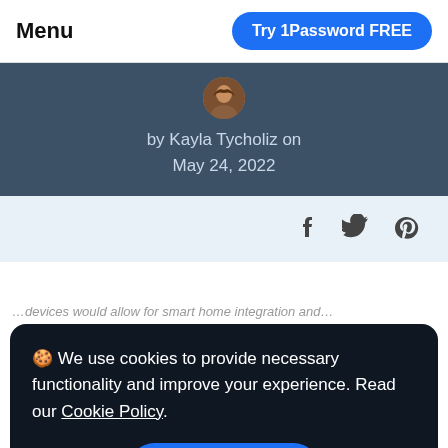Menu | Try 1Password FREE
by Kayla Tycholiz on May 24, 2022
f 𝕏 ⌂
🍪 We use cookies to provide necessary functionality and improve your experience. Read our Cookie Policy.
OK
move from room to room and